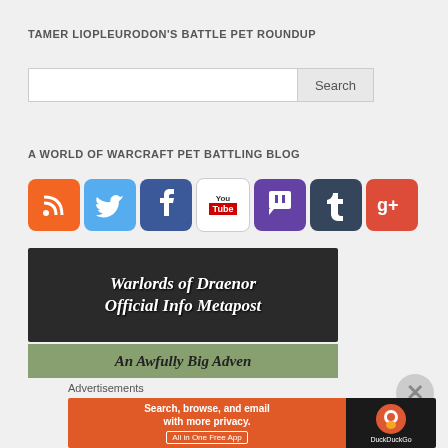TAMER LIOPLEURODON'S BATTLE PET ROUNDUP
[Figure (other): Search input box with Search button]
A WORLD OF WARCRAFT PET BATTLING BLOG
[Figure (other): Social media icons: RSS, Twitter, Facebook, YouTube, Twitch, Tumblr, Google+]
[Figure (other): Banner image: Warlords of Draenor Official Info Metapost]
[Figure (other): Banner image: An Awfully Big Adven...]
Advertisements
[Figure (other): DuckDuckGo advertisement: Search, browse, and email with more privacy. All in One Free App]